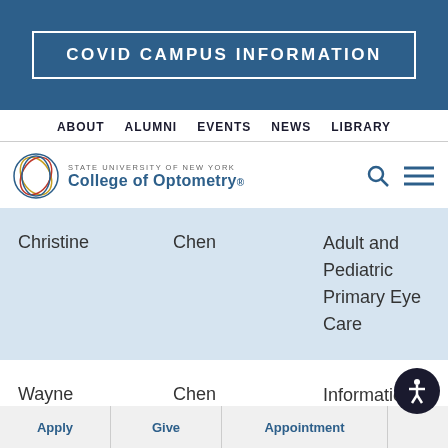COVID CAMPUS INFORMATION
ABOUT   ALUMNI   EVENTS   NEWS   LIBRARY
[Figure (logo): State University of New York College of Optometry logo with circular swirl graphic and SUNY wordmark]
| First Name | Last Name | Department |
| --- | --- | --- |
| Christine | Chen | Adult and Pediatric Primary Eye Care |
| Wayne | Chen | Information Technology and Media Services |
Apply   Give   Appointment